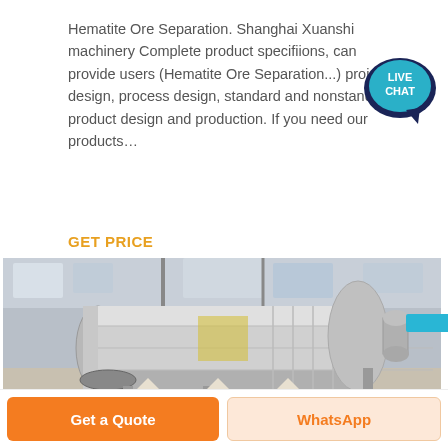Hematite Ore Separation. Shanghai Xuanshi machinery Complete product specifiions, can provide users (Hematite Ore Separation...) project design, process design, standard and nonstandard product design and production. If you need our products…
[Figure (other): Live Chat speech bubble badge icon in teal/dark blue color with text LIVE CHAT]
GET PRICE
[Figure (photo): Large industrial ball mill or rotary drum machine inside a factory building, showing a large cylindrical steel vessel with segmented outer shell, photographed in a grey industrial warehouse setting]